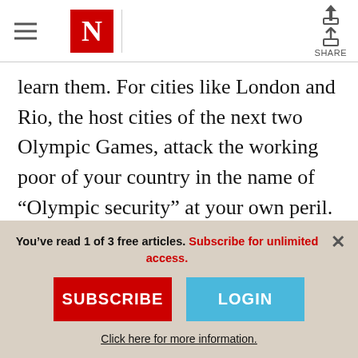The Nation — N logo, hamburger menu, share button
learn them. For cities like London and Rio, the host cities of the next two Olympic Games, attack the working poor of your country in the name of “Olympic security” at your own peril. For the citizens of these cities, be vigilant against efforts to bestow absolute power into the hands of twenty-first-century versions of Daryl Gates. But above all
You’ve read 1 of 3 free articles. Subscribe for unlimited access.
SUBSCRIBE
LOGIN
Click here for more information.